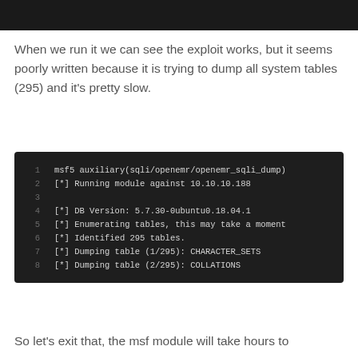[Figure (screenshot): Dark terminal/code block at top of page (cropped)]
When we run it we can see the exploit works, but it seems poorly written because it is trying to dump all system tables (295) and it's pretty slow.
[Figure (screenshot): Terminal output showing msf5 auxiliary module sqli/openemr/openemr_sqli_dump running against 10.10.10.188, identifying 295 tables and beginning to dump them starting with CHARACTER_SETS and COLLATIONS.]
So let's exit that, the msf module will take hours to